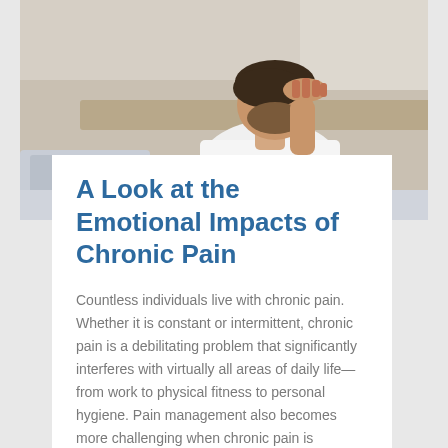[Figure (photo): A man with dark hair and beard sitting on a bed, head bowed down with one hand on his head, wearing a white t-shirt, appearing distressed. Light-colored wall and bedding in the background.]
A Look at the Emotional Impacts of Chronic Pain
Countless individuals live with chronic pain. Whether it is constant or intermittent, chronic pain is a debilitating problem that significantly interferes with virtually all areas of daily life—from work to physical fitness to personal hygiene. Pain management also becomes more challenging when chronic pain is